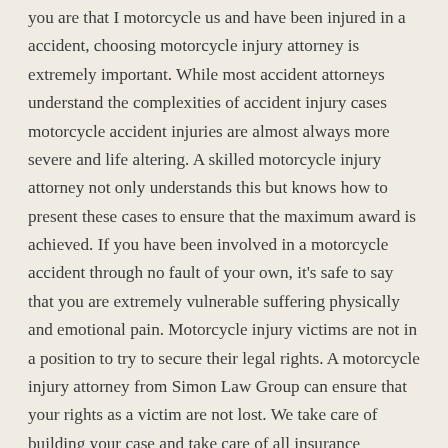you are that I motorcycle us and have been injured in a accident, choosing motorcycle injury attorney is extremely important. While most accident attorneys understand the complexities of accident injury cases motorcycle accident injuries are almost always more severe and life altering. A skilled motorcycle injury attorney not only understands this but knows how to present these cases to ensure that the maximum award is achieved. If you have been involved in a motorcycle accident through no fault of your own, it's safe to say that you are extremely vulnerable suffering physically and emotional pain. Motorcycle injury victims are not in a position to try to secure their legal rights. A motorcycle injury attorney from Simon Law Group can ensure that your rights as a victim are not lost. We take care of building your case and take care of all insurance company communications which is extremely important. Insurance companies are skilled at tactics to minimize or even eliminate awards to victims. A motorcycle injury attorney knows exactly how to deal with insurance